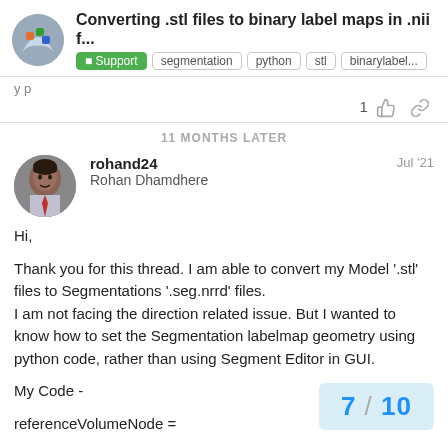Converting .stl files to binary label maps in .nii f...
11 MONTHS LATER
rohand24
Rohan Dhamdhere
Jul '21
Hi,

Thank you for this thread. I am able to convert my Model '.stl' files to Segmentations '.seg.nrrd' files.
I am not facing the direction related issue. But I wanted to know how to set the Segmentation labelmap geometry using python code, rather than using Segment Editor in GUI.

My Code -

referenceVolumeNode =
7 / 10